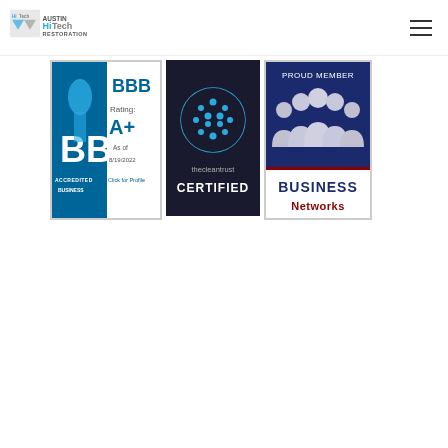[Figure (logo): Austin HiTech Restoration logo - blue and grey text with stylized Hi-Tech icon]
[Figure (logo): BBB Accredited Business badge with A+ rating as of 8/19/2022, click for profile]
[Figure (logo): The Cleantrust Certified badge with blue globe icon]
[Figure (logo): Proud Member Business Networks badge with silhouette group of people]